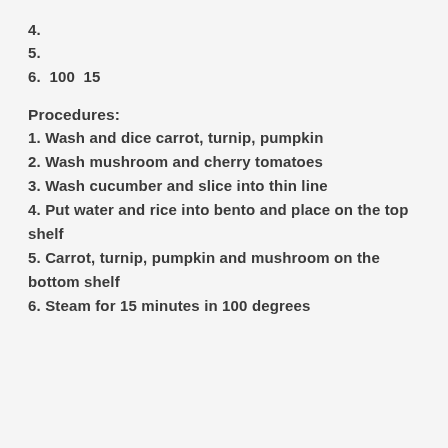4.
5.
6.  100  15
Procedures:
1. Wash and dice carrot, turnip, pumpkin
2. Wash mushroom and cherry tomatoes
3. Wash cucumber and slice into thin line
4. Put water and rice into bento and place on the top shelf
5. Carrot, turnip, pumpkin and mushroom on the bottom shelf
6. Steam for 15 minutes in 100 degrees